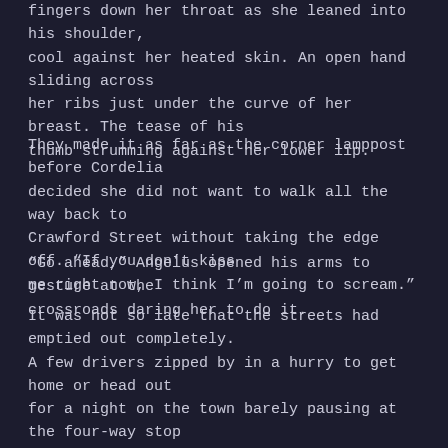fingers down her throat as she leaned into his shoulder, cool against her heated skin. An open hand sliding across her ribs just under the curve of her breast. The tease of his thumb strumming against her lower lip.
They made it as far as the corner lamppost before Cordelia decided she did not want to walk all the way back to Crawford Street without taking the edge off. "If you don't kiss me right now, I think I'm going to scream."
“Go ahead,” Angelus opened his arms to gesture at the crossroads daring her to do it.
It was not so late that the streets had emptied out completely. A few drivers zipped by in a hurry to get home or head out for a night on the town barely pausing at the four-way stop sign. People were still on the sidewalks: a dog-walker with a Pekinese, a jogger in a burgundy tracksuit, neighbors chatting. Not exactly close, but not that far away, either.